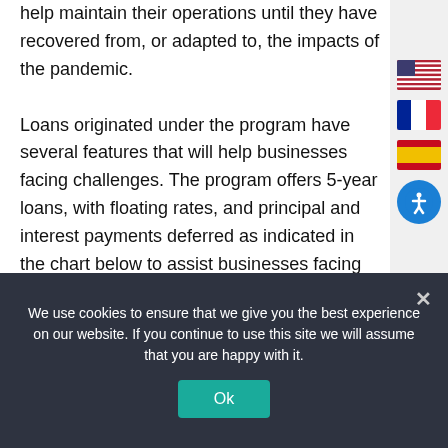help maintain their operations until they have recovered from, or adapted to, the impacts of the pandemic.

Loans originated under the program have several features that will help businesses facing challenges. The program offers 5-year loans, with floating rates, and principal and interest payments deferred as indicated in the chart below to assist businesses facing temporary cash flow interruptions. The
[Figure (other): US flag icon in sidebar]
[Figure (other): French flag icon in sidebar]
[Figure (other): Spanish flag icon in sidebar]
[Figure (other): Accessibility button (blue circle with person icon)]
[Figure (other): Scroll to top button (grey with up arrow)]
We use cookies to ensure that we give you the best experience on our website. If you continue to use this site we will assume that you are happy with it.